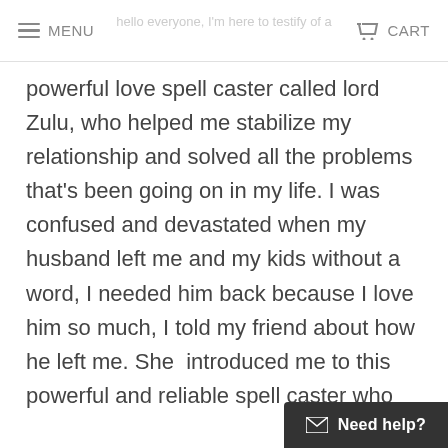MENU  CART
hello everyone, I'm here to testify of a powerful love spell caster called lord Zulu, who helped me stabilize my relationship and solved all the problems that's been going on in my life. I was confused and devastated when my husband left me and my kids without a word, I needed him back because I love him so much, I told my friend about how he left me. She  introduced me to this powerful and reliable spell caster who had helped her in getting her lover back, so I contacted him and he promised that in less than 24 hours he will come back to me. After I did all he asked, to my greatest surprise my husband who had [continues]